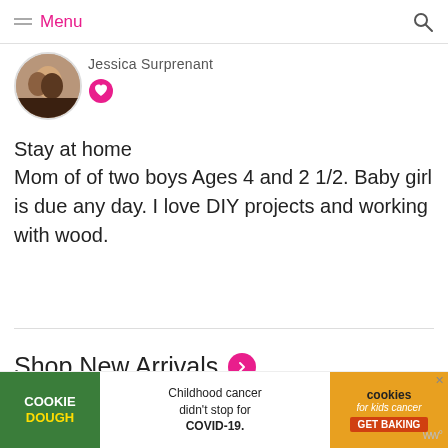Menu
[Figure (photo): Circular profile photo showing two women]
Jessica Surprenant
Stay at home
Mom of of two boys Ages 4 and 2 1/2. Baby girl is due any day. I love DIY projects and working with wood.
Shop New Arrivals
[Figure (photo): Product image strip partially visible]
[Figure (infographic): Cookie Dough / Cookies for Kids Cancer advertisement banner: Childhood cancer didn't stop for COVID-19. GET BAKING]